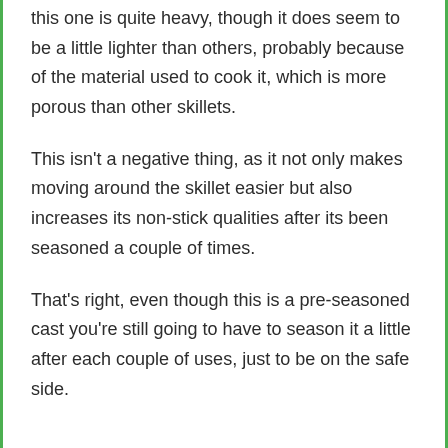this one is quite heavy, though it does seem to be a little lighter than others, probably because of the material used to cook it, which is more porous than other skillets.
This isn't a negative thing, as it not only makes moving around the skillet easier but also increases its non-stick qualities after its been seasoned a couple of times.
That's right, even though this is a pre-seasoned cast you're still going to have to season it a little after each couple of uses, just to be on the safe side.